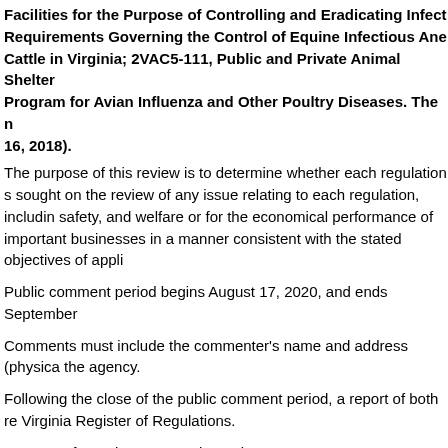Facilities for the Purpose of Controlling and Eradicating Infect Requirements Governing the Control of Equine Infectious Ane Cattle in Virginia; 2VAC5-111, Public and Private Animal Shelter Program for Avian Influenza and Other Poultry Diseases. The n 16, 2018).
The purpose of this review is to determine whether each regulation s sought on the review of any issue relating to each regulation, includin safety, and welfare or for the economical performance of important businesses in a manner consistent with the stated objectives of appli
Public comment period begins August 17, 2020, and ends September
Comments must include the commenter's name and address (physica the agency.
Following the close of the public comment period, a report of both re Virginia Register of Regulations.
Contact Information: Dr. Carolynn Bissett, Program Manager, Office Box 1163, Richmond, VA 23218, telephone (804) 786-2483, FAX (804)